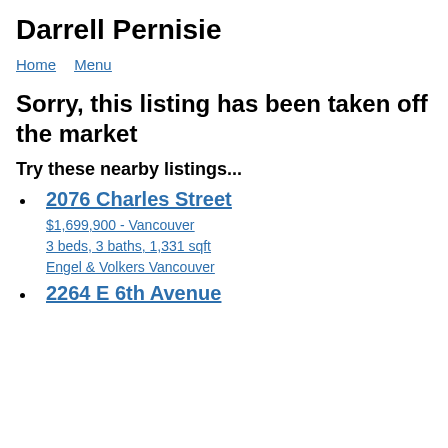Darrell Pernisie
Home   Menu
Sorry, this listing has been taken off the market
Try these nearby listings...
2076 Charles Street
$1,699,900 - Vancouver
3 beds, 3 baths, 1,331 sqft
Engel & Volkers Vancouver
2264 E 6th Avenue